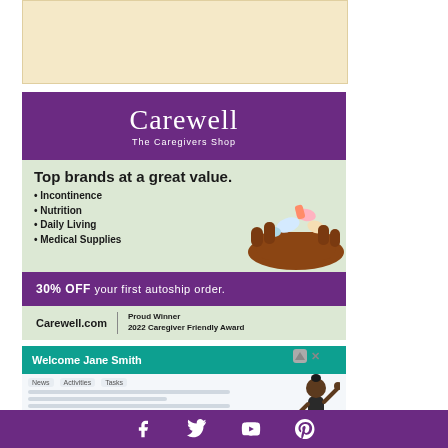[Figure (screenshot): Beige/cream colored advertisement area with close button (X) in upper left]
[Figure (screenshot): Carewell - The Caregivers Shop advertisement. Purple header with Carewell logo. Light green section with text 'Top brands at a great value.' with bullet list: Incontinence, Nutrition, Daily Living, Medical Supplies. Illustration of hand holding healthcare products. Purple band with '30% OFF your first autoship order.' Light green footer with 'Carewell.com | Proud Winner 2022 Caregiver Friendly Award']
[Figure (screenshot): Second advertisement screenshot showing 'Welcome Jane Smith' interface with teal/green background, navigation tabs for News, Activities, Tasks, and a figure illustration on the right. Has ad indicator triangle icon and X close button.]
Social media icons: Facebook, Twitter, YouTube, Pinterest